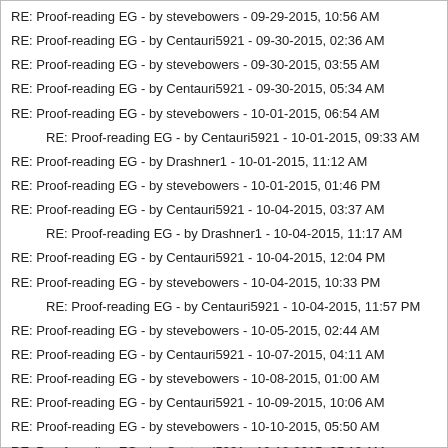RE: Proof-reading EG - by stevebowers - 09-29-2015, 10:56 AM
RE: Proof-reading EG - by Centauri5921 - 09-30-2015, 02:36 AM
RE: Proof-reading EG - by stevebowers - 09-30-2015, 03:55 AM
RE: Proof-reading EG - by Centauri5921 - 09-30-2015, 05:34 AM
RE: Proof-reading EG - by stevebowers - 10-01-2015, 06:54 AM
RE: Proof-reading EG - by Centauri5921 - 10-01-2015, 09:33 AM (indented)
RE: Proof-reading EG - by Drashner1 - 10-01-2015, 11:12 AM
RE: Proof-reading EG - by stevebowers - 10-01-2015, 01:46 PM
RE: Proof-reading EG - by Centauri5921 - 10-04-2015, 03:37 AM
RE: Proof-reading EG - by Drashner1 - 10-04-2015, 11:17 AM (indented)
RE: Proof-reading EG - by Centauri5921 - 10-04-2015, 12:04 PM
RE: Proof-reading EG - by stevebowers - 10-04-2015, 10:33 PM
RE: Proof-reading EG - by Centauri5921 - 10-04-2015, 11:57 PM (indented)
RE: Proof-reading EG - by stevebowers - 10-05-2015, 02:44 AM
RE: Proof-reading EG - by Centauri5921 - 10-07-2015, 04:11 AM
RE: Proof-reading EG - by stevebowers - 10-08-2015, 01:00 AM
RE: Proof-reading EG - by Centauri5921 - 10-09-2015, 10:06 AM
RE: Proof-reading EG - by stevebowers - 10-10-2015, 05:50 AM
RE: Proof-reading EG - by Centauri5921 - 10-10-2015, 07:19 AM
RE: Proof-reading EG - by Centauri5921 - 10-10-2015, 10:07 PM
RE: Proof-reading EG - by Drashner1 - 10-11-2015, 12:07 PM
RE: Proof-reading EG - by Centauri5921 - 10-11-2015, 09:13 PM
RE: Proof-reading EG - by Matterplay1 - 10-12-2015, 02:11 AM (indented)
RE: Proof-reading EG - by tmazanec1 - 10-12-2015, 03:13 PM
RE: Proof-reading EG - by stevebowers - 10-12-2015, 05:11 PM